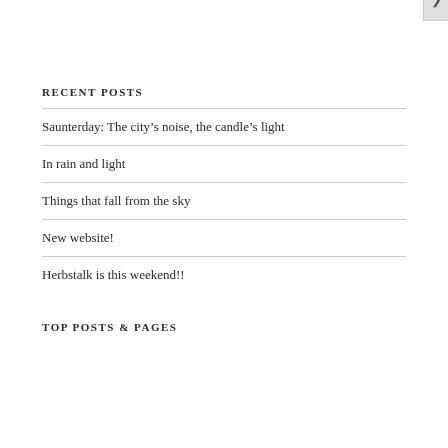RECENT POSTS
Saunterday: The city's noise, the candle's light
In rain and light
Things that fall from the sky
New website!
Herbstalk is this weekend!!
TOP POSTS & PAGES
Privacy & Cookies: This site uses cookies. By continuing to use this website, you agree to their use.
To find out more, including how to control cookies, see here: Cookie Policy
Close and accept